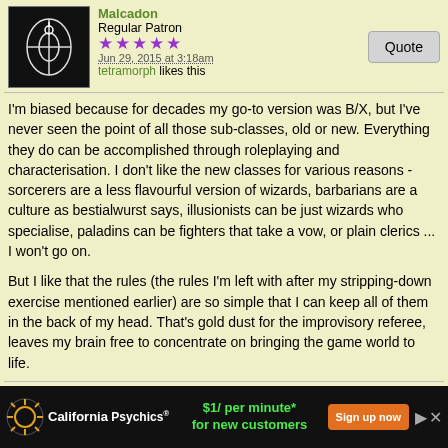[Figure (photo): User avatar for The Traveller - dark image with white circular design on black background]
Regular Patron
[Figure (other): 5 purple star rating]
Jun 29, 2015 at 3:18am
tetramorph likes this
Quote
I'm biased because for decades my go-to version was B/X, but I've never seen the point of all those sub-classes, old or new. Everything they do can be accomplished through roleplaying and characterisation. I don't like the new classes for various reasons - sorcerers are a less flavourful version of wizards, barbarians are a culture as bestialwurst says, illusionists can be just wizards who specialise, paladins can be fighters that take a vow, or plain clerics ... I won't go on.
But I like that the rules (the rules I'm left with after my stripping-down exercise mentioned earlier) are so simple that I can keep all of them in the back of my head. That's gold dust for the improvisory referee, leaves my brain free to concentrate on bringing the game world to life.
Malcadon
[Figure (photo): User avatar for Malcadon - figurine of a creature with arms spread on a base]
Regular Patron
[Figure (other): 5 purple star rating]
Jun 29, 2015 at 8:54pm
franchise likes this
Quote
I like the rules. It is simple and easy to work with and retool for my own
[Figure (infographic): California Psychics advertisement banner: $1/ per minute* for new customers, Sign up now button]